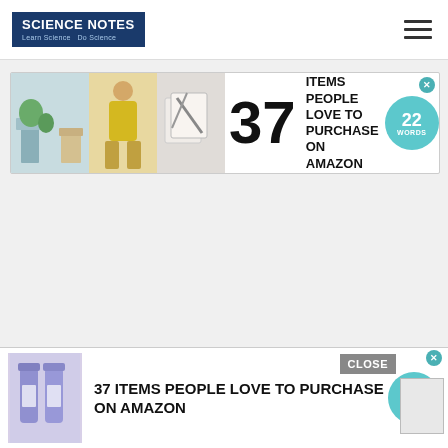SCIENCE NOTES — Learn Science Do Science
[Figure (screenshot): Banner advertisement: '37 ITEMS PEOPLE LOVE TO PURCHASE ON AMAZON' with 22 Words badge logo, close X button, lifestyle product images]
[Figure (screenshot): Bottom sticky advertisement: '37 ITEMS PEOPLE LOVE TO PURCHASE ON AMAZON' with 22 Words badge, CLOSE button, corner scroll box, product bottle images]
Categ